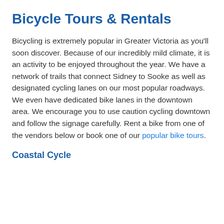Bicycle Tours & Rentals
Bicycling is extremely popular in Greater Victoria as you'll soon discover. Because of our incredibly mild climate, it is an activity to be enjoyed throughout the year. We have a network of trails that connect Sidney to Sooke as well as designated cycling lanes on our most popular roadways. We even have dedicated bike lanes in the downtown area. We encourage you to use caution cycling downtown and follow the signage carefully. Rent a bike from one of the vendors below or book one of our popular bike tours.
Coastal Cycle